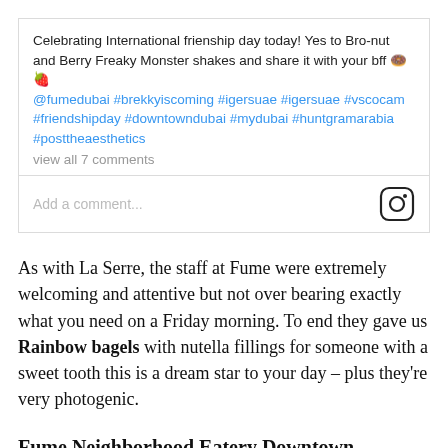[Figure (screenshot): Instagram post caption box showing text about International Friendship Day with hashtags, view all 7 comments link, and Add a comment field with Instagram icon]
As with La Serre, the staff at Fume were extremely welcoming and attentive but not over bearing exactly what you need on a Friday morning. To end they gave us Rainbow bagels with nutella fillings for someone with a sweet tooth this is a dream star to your day – plus they're very photogenic.
Fume Neighborhood Eatery Downtown
Mohammed Bin Rashid Boulevard – Dubai